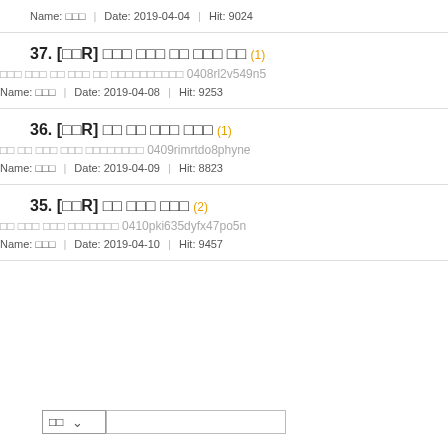Name: □□□  |  Date: 2019-04-04  |  Hit: 9024
37. [□□R] □□□ □□□ □□ □□□ □□ (1)
□□□ □□□ □□ □□□ □□ □□□□□□□□□□ 0408rl2v549n5
Name: □□□  |  Date: 2019-04-08  |  Hit: 9253
36. [□□R] □□ □□ □□□ □□□ (1)
□□ □□ □□□ □□□ □□□□□□□□ 0409rimrtdo8phyne
Name: □□□  |  Date: 2019-04-09  |  Hit: 8823
35. [□□R] □□ □□□ □□□ (2)
□□ □□□ □□□ □□□□□□□ 0410pki635dyfx47po5n
Name: □□□  |  Date: 2019-04-10  |  Hit: 9457